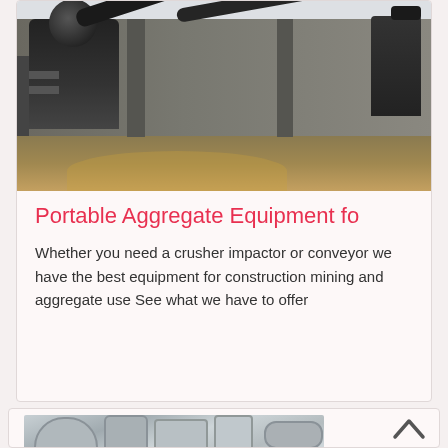[Figure (photo): Industrial aggregate processing facility interior showing heavy machinery, conveyor belts, pipes, and dust collectors in a large warehouse-like building with concrete floor illuminated by warm light.]
Portable Aggregate Equipment fo
Whether you need a crusher impactor or conveyor we have the best equipment for construction mining and aggregate use See what we have to offer
[Figure (photo): Industrial ductwork and piping systems, showing large cylindrical metal pipes and ventilation equipment in an industrial facility.]